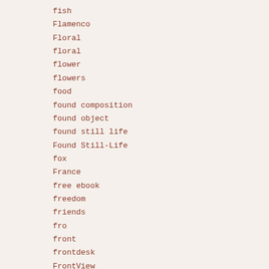fish
Flamenco
Floral
floral
flower
flowers
food
found composition
found object
found still life
Found Still-Life
fox
France
free ebook
freedom
friends
fro
front
frontdesk
FrontView
Frozen Charlotte.
Fruit
fruit
gallery affiliation
game